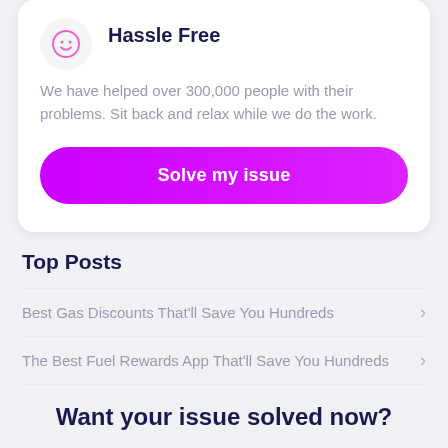Hassle Free
We have helped over 300,000 people with their problems. Sit back and relax while we do the work.
Solve my issue
Top Posts
Best Gas Discounts That'll Save You Hundreds
The Best Fuel Rewards App That'll Save You Hundreds
Want your issue solved now?
Solve my issue